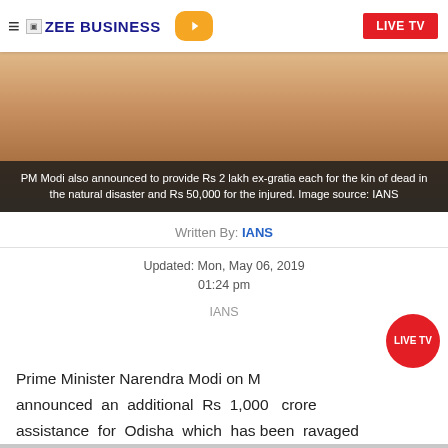ZEE BUSINESS | LIVE TV
[Figure (photo): Photo of PM Narendra Modi]
PM Modi also announced to provide Rs 2 lakh ex-gratia each for the kin of dead in the natural disaster and Rs 50,000 for the injured. Image source: IANS
Written By: IANS
Updated: Mon, May 06, 2019
01:24 pm
IANS
Prime Minister Narendra Modi on M... announced an additional Rs 1,000 crore assistance for Odisha which has been ravaged by cyclone Fani. The union government had sanctioned Rs 381 crore last week, said Modi.